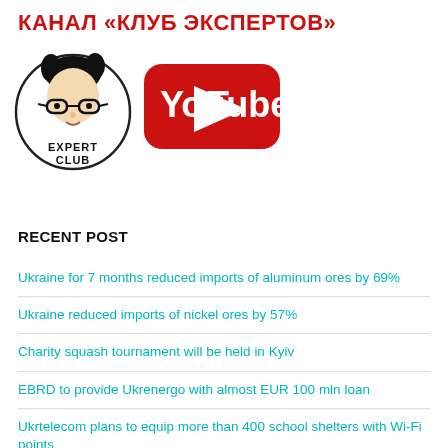КАНАЛ «КЛУБ ЭКСПЕРТОВ»
[Figure (logo): Expert Club circular logo with illustrated face wearing glasses and text EXPERT CLUB, next to YouTube logo in red and white]
RECENT POST
Ukraine for 7 months reduced imports of aluminum ores by 69%
Ukraine reduced imports of nickel ores by 57%
Charity squash tournament will be held in Kyiv
EBRD to provide Ukrenergo with almost EUR 100 mln loan
Ukrtelecom plans to equip more than 400 school shelters with Wi-Fi points